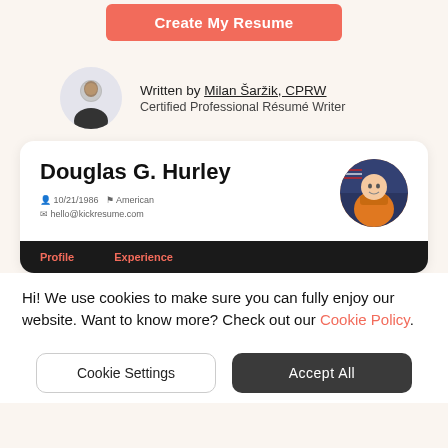[Figure (other): Red/coral rounded rectangle button labeled 'Create My Resume' in white bold text]
Written by Milan Šaržik, CPRW
Certified Professional Résumé Writer
[Figure (other): Resume preview card showing Douglas G. Hurley's resume with astronaut photo, date 10/21/1986, American nationality, hello@kickresume.com, with Profile and Experience navigation tabs on dark bar]
Hi! We use cookies to make sure you can fully enjoy our website. Want to know more? Check out our Cookie Policy.
[Figure (other): Two buttons: 'Cookie Settings' (outlined) and 'Accept All' (dark filled)]